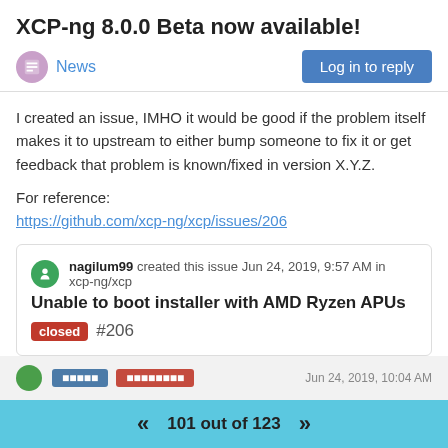XCP-ng 8.0.0 Beta now available!
News
I created an issue, IMHO it would be good if the problem itself makes it to upstream to either bump someone to fix it or get feedback that problem is known/fixed in version X.Y.Z.
For reference:
https://github.com/xcp-ng/xcp/issues/206
[Figure (screenshot): GitHub issue card: nagilum99 created this issue Jun 24, 2019, 9:57 AM in xcp-ng/xcp. Title: Unable to boot installer with AMD Ryzen APUs #206. Status badge: closed (red).]
1 Reply >
0
101 out of 123